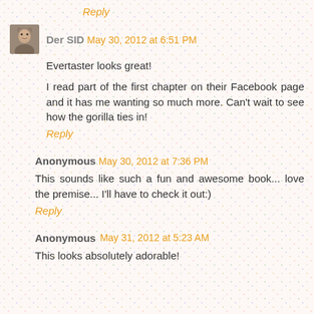Reply
Der SID  May 30, 2012 at 6:51 PM
Evertaster looks great!
I read part of the first chapter on their Facebook page and it has me wanting so much more. Can't wait to see how the gorilla ties in!
Reply
Anonymous  May 30, 2012 at 7:36 PM
This sounds like such a fun and awesome book... love the premise... I'll have to check it out:)
Reply
Anonymous  May 31, 2012 at 5:23 AM
This looks absolutely adorable!